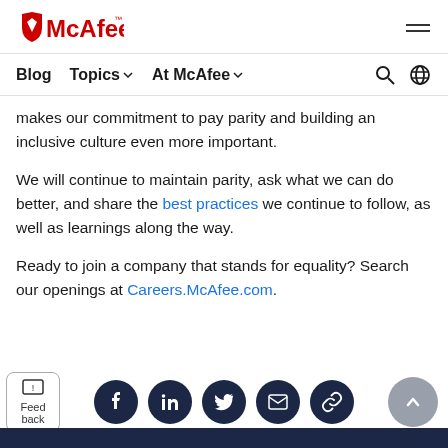McAfee
Blog  Topics  At McAfee
makes our commitment to pay parity and building an inclusive culture even more important.
We will continue to maintain parity, ask what we can do better, and share the best practices we continue to follow, as well as learnings along the way.
Ready to join a company that stands for equality? Search our openings at Careers.McAfee.com.
[Figure (other): Social sharing icons row: Facebook, LinkedIn, Twitter, Email, Link. Feedback button on left. Scroll-to-top button on right.]